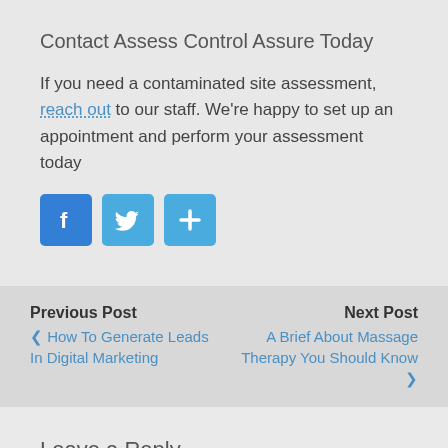Contact Assess Control Assure Today
If you need a contaminated site assessment, reach out to our staff. We're happy to set up an appointment and perform your assessment today
[Figure (infographic): Three social sharing icons: Facebook (blue f), Twitter (blue bird), and a share button (blue +)]
Previous Post: How To Generate Leads In Digital Marketing | Next Post: A Brief About Massage Therapy You Should Know
Leave a Reply